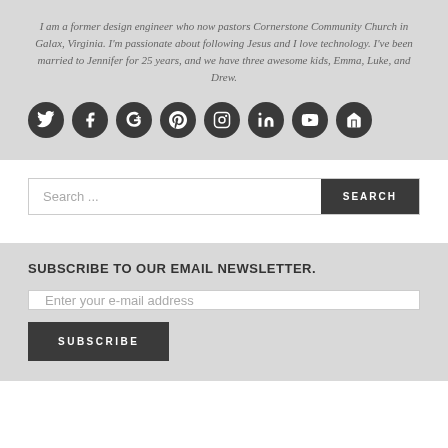I am a former design engineer who now pastors Cornerstone Community Church in Galax, Virginia. I'm passionate about following Jesus and I love technology. I've been married to Jennifer for 25 years, and we have three awesome kids, Emma, Luke, and Drew.
[Figure (infographic): Row of 8 dark circular social media icon buttons: Twitter, Facebook, Google+, Pinterest, Instagram, LinkedIn, YouTube, Home]
Search ...
SUBSCRIBE TO OUR EMAIL NEWSLETTER.
Enter your e-mail address
SUBSCRIBE